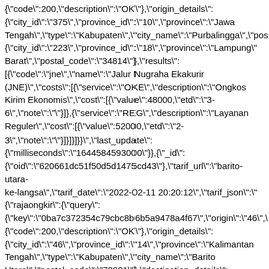{"code":200,"description":"OK"},"origin_details": {"city_id":"375","province_id":"10","province":"Jawa Tengah","type":"Kabupaten","city_name":"Purbalingga","pos {"city_id":"223","province_id":"18","province":"Lampung" Barat","postal_code":"34814"},"results": [{"code":"jne","name":"Jalur Nugraha Ekakurir (JNE)","costs":[{"service":"OKE","description":"Ongkos Kirim Ekonomis","cost":[{"value":48000,"etd":"3-6","note":""}]},{"service":"REG","description":"Layanan Reguler","cost":[{"value":52000,"etd":"2-3","note":""}]}]}]}}","last_update": {"milliseconds":"1644584593000"}},{"_id": {"oid":"620661dc51f50d5d1475cd43"},"tarif_url":"barito-utara-ke-langsa","tarif_date":"2022-02-11 20:20:12","tarif_json":"{"rajaongkir":{"query": {"key":"0ba7c372354c79cbc8b6b5a9478a4f67","origin":"46", {"code":200,"description":"OK"},"origin_details": {"city_id":"46","province_id":"14","province":"Kalimantan Tengah","type":"Kabupaten","city_name":"Barito Utara","postal_code":"73881"},"destination_details": {"city_id":"230","province_id":"21","province":"Nanggroe Aceh Darussalam (NAD)","type":"Kota","city_name":"Langsa","postal_code": [{"code":"jne","name":"Jalur Nugraha Ekakurir (JNE)","costs":[{"service":"OKE","description":"Ongkos